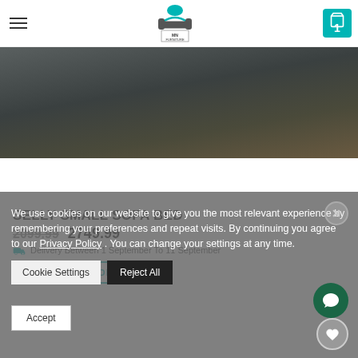[Figure (screenshot): MN Furniture website header with hamburger menu, logo, and shopping cart showing 1 item]
[Figure (photo): Dark sofa/sectional product photo on wooden floor with rug]
SELLY SMALL SOFA BED
2099.99  2749.99
Delivery Between 1 September To 11 September
SELECT OPTIONS
We use cookies on our website to give you the most relevant experience by remembering your preferences and repeat visits. By continuing you agree to our Privacy Policy . You can change your settings at any time.
Cookie Settings
Reject All
Accept